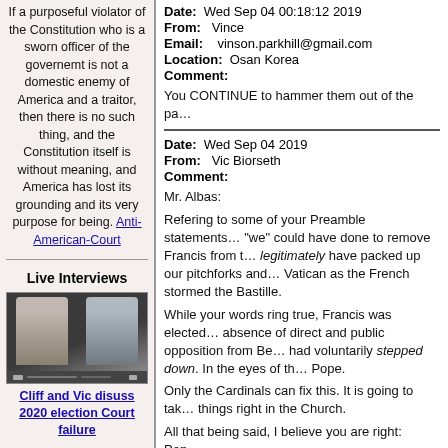If a purposeful violator of the Constitution who is a sworn officer of the governemt is not a domestic enemy of America and a traitor, then there is no such thing, and the Constitution itself is without meaning, and America has lost its grounding and its very purpose for being. Anti-American-Court
Live Interviews
[Figure (photo): Video thumbnail showing two people in a video call]
Cliff and Vic disuss 2020 election Court failure
Date: Wed Sep 04 00:18:12 2019
From: Vince
Email: vinson.parkhill@gmail.com
Location: Osan Korea
Comment:
You CONTINUE to hammer them out of the pa...
Date: Wed Sep 04 2019
From: Vic Biorseth
Comment:
Mr. Albas:

Refering to some of your Preamble statements... "we" could have done to remove Francis from t... legitimately have packed up our pitchforks and... Vatican as the French stormed the Bastille.

While your words ring true, Francis was elected... absence of direct and public opposition from Be... had voluntarily stepped down. In the eyes of th... Pope.

Only the Cardinals can fix this. It is going to tak... things right in the Church.

All that being said, I believe you are right: Pop...